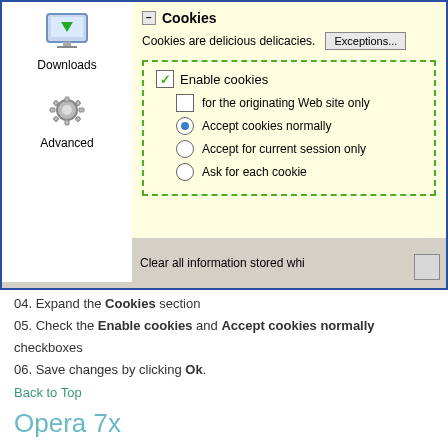[Figure (screenshot): Browser preferences dialog showing Cookies section expanded. Left panel shows Downloads and Advanced icons. Right panel shows yellow Cookies settings with Enable cookies checked, Accept cookies normally selected, and other cookie options listed. A dashed green border highlights the options area.]
04. Expand the Cookies section
05. Check the Enable cookies and Accept cookies normally checkboxes
06. Save changes by clicking Ok.
Back to Top
Opera 7x